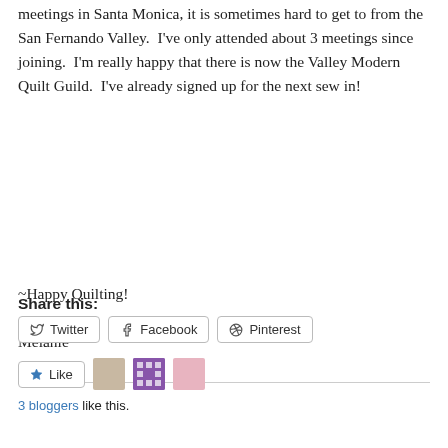meetings in Santa Monica, it is sometimes hard to get to from the San Fernando Valley.  I've only attended about 3 meetings since joining.  I'm really happy that there is now the Valley Modern Quilt Guild.  I've already signed up for the next sew in!
~Happy Quilting!
Melanie
Share this:
Twitter   Facebook   Pinterest
Like   3 bloggers like this.